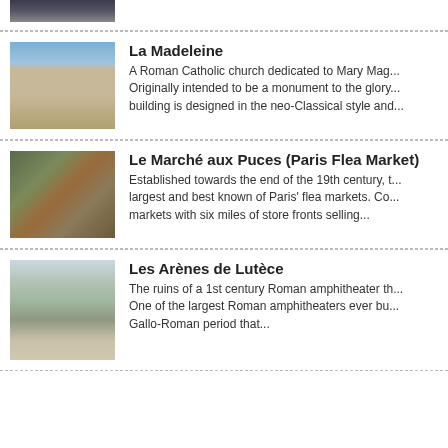[Figure (photo): Partial thumbnail of a Paris landmark at top of page]
[Figure (photo): Photo of La Madeleine, a neoclassical Roman Catholic church with large columns]
La Madeleine
A Roman Catholic church dedicated to Mary Mag... Originally intended to be a monument to the glory... building is designed in the neo-Classical style and...
[Figure (photo): Interior/antique shop photo for Le Marché aux Puces flea market]
Le Marché aux Puces (Paris Flea Market)
Established towards the end of the 19th century, t... largest and best known of Paris' flea markets. Co... markets with six miles of store fronts selling...
[Figure (photo): Photo of Les Arènes de Lutèce Roman amphitheater ruins in Paris]
Les Arènes de Lutèce
The ruins of a 1st century Roman amphitheater th... One of the largest Roman amphitheaters ever bu... Gallo-Roman period that...